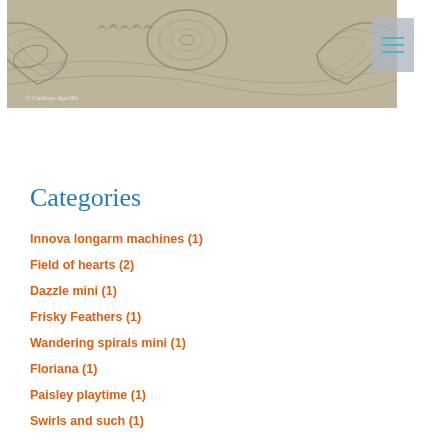[Figure (photo): Close-up photo of intricate beige/tan quilting fabric with spiral and feather patterns]
Categories
Innova longarm machines (1)
Field of hearts (2)
Dazzle mini (1)
Frisky Feathers (1)
Wandering spirals mini (1)
Floriana (1)
Paisley playtime (1)
Swirls and such (1)